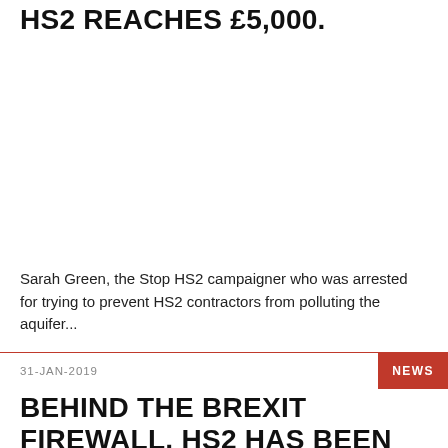HS2 REACHES £5,000.
Sarah Green, the Stop HS2 campaigner who was arrested for trying to prevent HS2 contractors from polluting the aquifer...
31-JAN-2019
NEWS
BEHIND THE BREXIT FIREWALL, HS2 HAS BEEN TRUNDLING ON AT PANIC